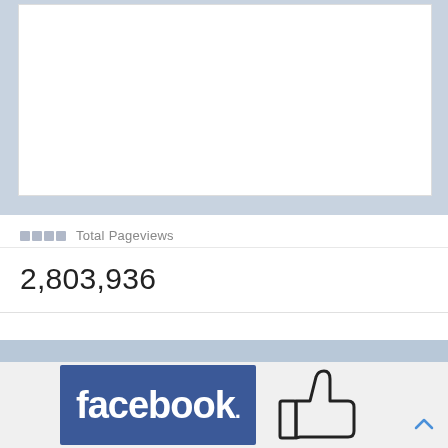[Figure (screenshot): Top portion of a webpage screenshot showing a white content box overlaid on a light blue-grey background image area.]
▪▪▪▪ Total Pageviews
2,803,936
[Figure (logo): Facebook logo (white text on blue background) with a thumbs-up like icon to the right, partially visible at the bottom of the page.]